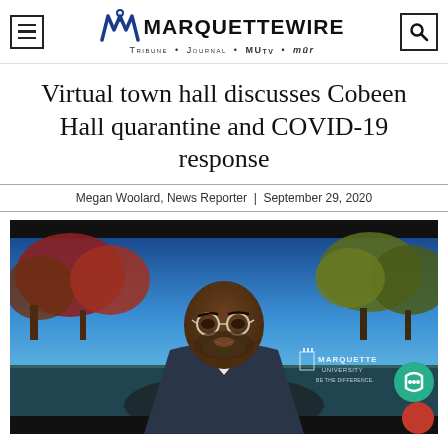Marquette Wire — Tribune • Journal • MUtv • mur
Virtual town hall discusses Cobeen Hall quarantine and COVID-19 response
Megan Woolard, News Reporter | September 29, 2020
[Figure (photo): Screenshot of a virtual video call showing a Black man with glasses and a beard wearing a suit jacket, with a Marquette University virtual background showing trees and blue sky. The Marquette University logo watermark is visible in the lower right of the frame.]